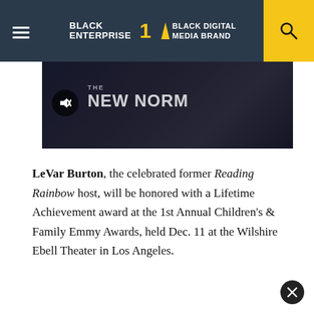BLACK ENTERPRISE THE #1 BLACK DIGITAL MEDIA BRAND
[Figure (screenshot): Video thumbnail showing 'THE NEW NORM' text with a mute button icon overlay on a dark background]
LeVar Burton, the celebrated former Reading Rainbow host, will be honored with a Lifetime Achievement award at the 1st Annual Children's & Family Emmy Awards, held Dec. 11 at the Wilshire Ebell Theater in Los Angeles.